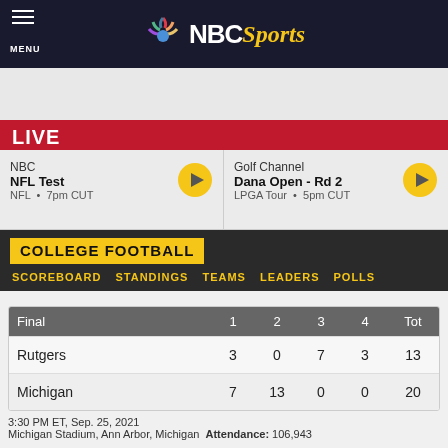MENU | NBC Sports
LIVE
NBC | NFL Test | NFL • 7pm CUT
Golf Channel | Dana Open - Rd 2 | LPGA Tour • 5pm CUT
COLLEGE FOOTBALL
SCOREBOARD   STANDINGS   TEAMS   LEADERS   POLLS
| Final | 1 | 2 | 3 | 4 | Tot |
| --- | --- | --- | --- | --- | --- |
| Rutgers | 3 | 0 | 7 | 3 | 13 |
| Michigan | 7 | 13 | 0 | 0 | 20 |
3:30 PM ET, Sep. 25, 2021
Michigan Stadium, Ann Arbor, Michigan  Attendance: 106,943